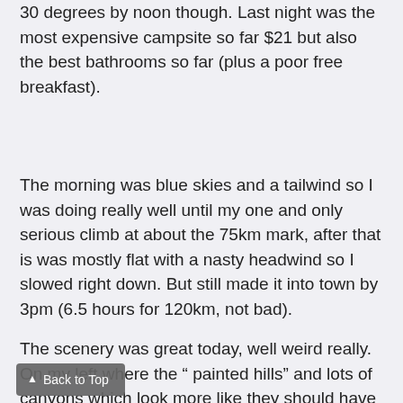30 degrees by noon though. Last night was the most expensive campsite so far $21 but also the best bathrooms so far (plus a poor free breakfast).
The morning was blue skies and a tailwind so I was doing really well until my one and only serious climb at about the 75km mark, after that is was mostly flat with a nasty headwind so I slowed right down. But still made it into town by 3pm (6.5 hours for 120km, not bad).
The scenery was great today, well weird really. On my left where the " painted hills" and lots of canyons which look more like they should have been in Utah or Arizona, and on my right where rolling Wyoming hills, fascinating to see
▲ Back to Top